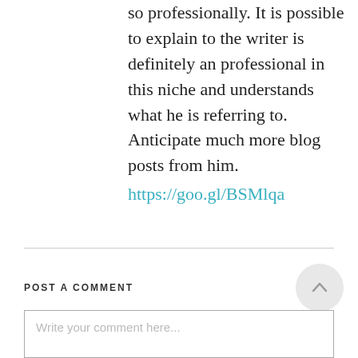so professionally. It is possible to explain to the writer is definitely an professional in this niche and understands what he is referring to. Anticipate much more blog posts from him.
https://goo.gl/BSMlqa
POST A COMMENT
Write your comment here...